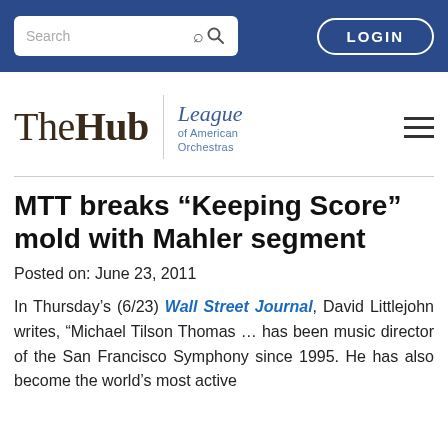Search | LOGIN
[Figure (logo): The Hub | League of American Orchestras logo with hamburger menu]
MTT breaks “Keeping Score” mold with Mahler segment
Posted on: June 23, 2011
In Thursday’s (6/23) Wall Street Journal, David Littlejohn writes, “Michael Tilson Thomas … has been music director of the San Francisco Symphony since 1995. He has also become the world’s most active